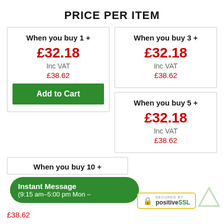PRICE PER ITEM
When you buy 1 +
£32.18
Inc VAT
£38.62
Add to Cart
When you buy 3 +
£32.18
Inc VAT
£38.62
When you buy 5 +
£32.18
Inc VAT
£38.62
When you buy 10 +
£38.62
Instant Message
(9:15 am–5:00 pm Mon -
[Figure (logo): PositiveSSL secured badge with padlock icon and yellow border]
[Figure (logo): Green triangle/delta logo outline]